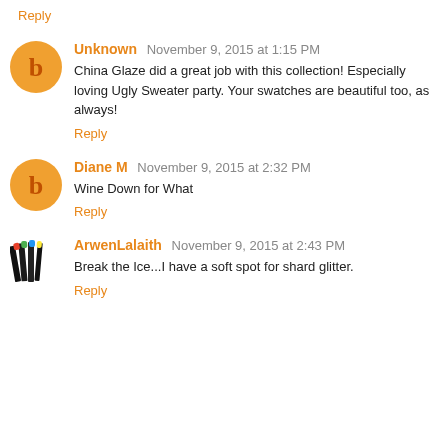Reply
Unknown November 9, 2015 at 1:15 PM
China Glaze did a great job with this collection! Especially loving Ugly Sweater party. Your swatches are beautiful too, as always!
Reply
Diane M November 9, 2015 at 2:32 PM
Wine Down for What
Reply
ArwenLalaith November 9, 2015 at 2:43 PM
Break the Ice...I have a soft spot for shard glitter.
Reply